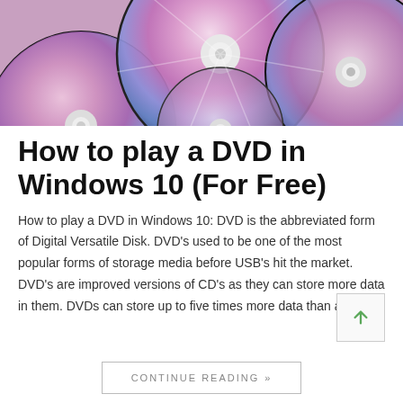[Figure (photo): Multiple shiny DVD/CD discs viewed from above, showing iridescent purple/pink and silver rainbow reflections on their surfaces.]
How to play a DVD in Windows 10 (For Free)
How to play a DVD in Windows 10: DVD is the abbreviated form of Digital Versatile Disk. DVD's used to be one of the most popular forms of storage media before USB's hit the market. DVD's are improved versions of CD's as they can store more data in them. DVDs can store up to five times more data than a …
CONTINUE READING »